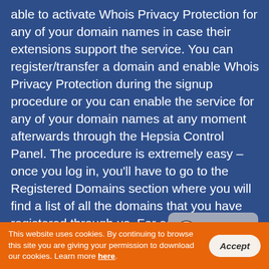able to activate Whois Privacy Protection for any of your domain names in case their extensions support the service. You can register/transfer a domain and enable Whois Privacy Protection during the signup procedure or you can enable the service for any of your domain names at any moment afterwards through the Hepsia Control Panel. The procedure is extremely easy – once you log in, you'll have to go to the Registered Domains section where you will find a list of all the domains that you have registered through us. For each one of them you will see an “Whois Privacy Protection” logo, which will show you if the service is enabled or not. By clicking on it, you can either Whois Privacy Protect the domain, or you can turn off the service if it is currently activated.
[Figure (other): Live Chat button widget — speech bubble shaped button with chat icon and text 'Live Chat']
This website uses cookies. By continuing to browse this site you are giving your permission to download our cookies. Learn more here.